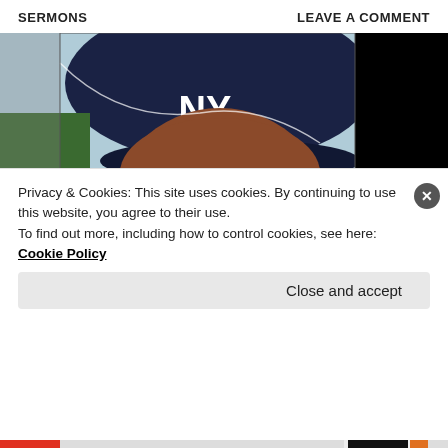SERMONS    LEAVE A COMMENT
[Figure (photo): Close-up photograph of a man wearing a New York Yankees navy baseball cap with NY logo, aviator-style tinted glasses, mustache, and a white pinstripe uniform. The photo appears old and has cracks/damage. Background shows another player in a green uniform. The right portion of the image is overlaid with a black rectangle.]
Privacy & Cookies: This site uses cookies. By continuing to use this website, you agree to their use.
To find out more, including how to control cookies, see here: Cookie Policy
Close and accept